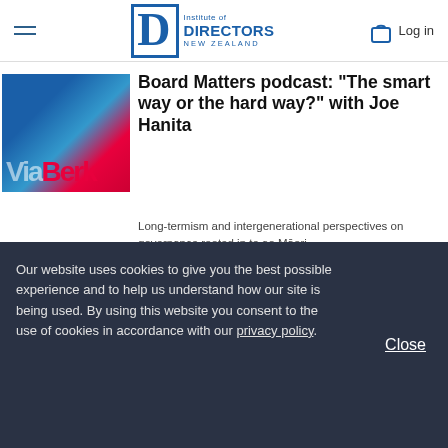Institute of Directors NEW ZEALAND — Log in
[Figure (photo): Thumbnail image with blue and red colors, partially visible, for Board Matters podcast article]
Board Matters podcast: "The smart way or the hard way?" with Joe Hanita
Long-termism and intergenerational perspectives on governance rooted in te ao Māori.
Long-termism • Te AoMāori
Our website uses cookies to give you the best possible experience and to help us understand how our site is being used. By using this website you consent to the use of cookies in accordance with our privacy policy.
Close
IMHO: Corporations need to act on climate change – but how?
Your organisation' carbon footprint shouldn't be isolated from its social impact...